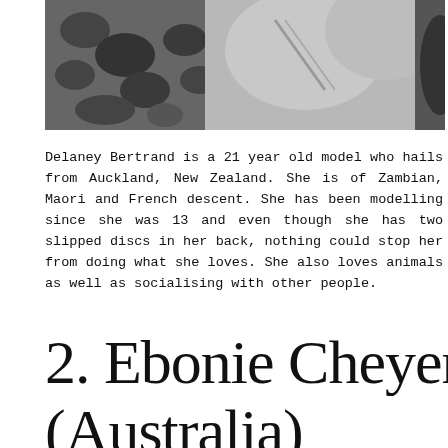[Figure (photo): Black and white photograph showing a close-up of a person's torso/body, partially cropped at top of page]
Delaney Bertrand is a 21 year old model who hails from Auckland, New Zealand. She is of Zambian, Maori and French descent. She has been modelling since she was 13 and even though she has two slipped discs in her back, nothing could stop her from doing what she loves. She also loves animals as well as socialising with other people.
2. Ebonie Cheyenne (Australia)